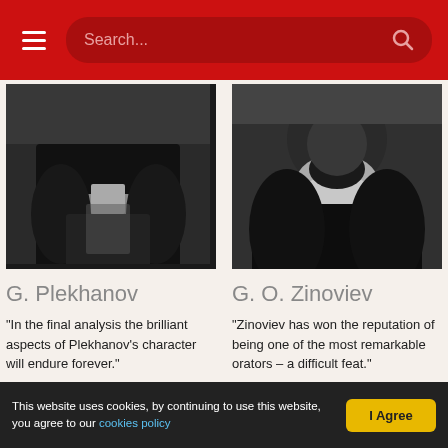Search...
[Figure (photo): Black and white photograph of G. Plekhanov, cropped showing torso and head area]
G. Plekhanov
"In the final analysis the brilliant aspects of Plekhanov's character will endure forever."
[Figure (photo): Black and white photograph of G. O. Zinoviev, showing man with white beard and dark clothing]
G. O. Zinoviev
"Zinoviev has won the reputation of being one of the most remarkable orators – a difficult feat."
This website uses cookies, by continuing to use this website, you agree to our cookies policy  |  I Agree